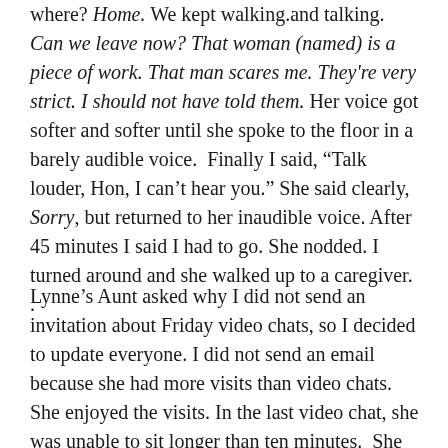where? Home. We kept walking.and talking. Can we leave now? That woman (named) is a piece of work. That man scares me. They're very strict. I should not have told them. Her voice got softer and softer until she spoke to the floor in a barely audible voice. Finally I said, “Talk louder, Hon, I can’t hear you.” She said clearly, Sorry, but returned to her inaudible voice. After 45 minutes I said I had to go. She nodded. I turned around and she walked up to a caregiver. .
Lynne’s Aunt asked why I did not send an invitation about Friday video chats, so I decided to update everyone. I did not send an email because she had more visits than video chats. She enjoyed the visits. In the last video chat, she was unable to sit longer than ten minutes. She walked around the room while I my unsteady hand made